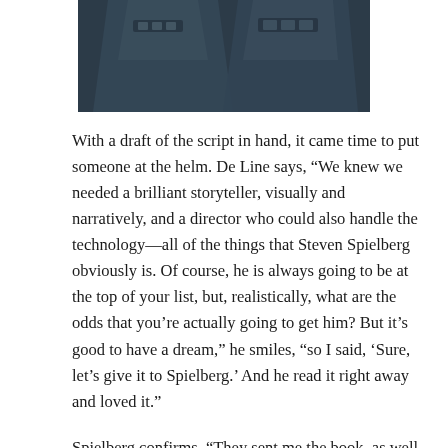[Figure (photo): Dark blue-toned image showing armored figures or suits, likely from a movie production or concept art]
With a draft of the script in hand, it came time to put someone at the helm.  De Line says, “We knew we needed a brilliant storyteller, visually and narratively, and a director who could also handle the technology—all of the things that Steven Spielberg obviously is.  Of course, he is always going to be at the top of your list, but, realistically, what are the odds that you’re actually going to get him?  But it’s good to have a dream,” he smiles, “so I said, ‘Sure, let’s give it to Spielberg.’  And he read it right away and loved it.”
Spielberg confirms, “They sent me the book, as well as the script, which I read first.  I became completely enthralled with the idea of this juxtaposition of two worlds.  Then I read the book and it really spun me out.